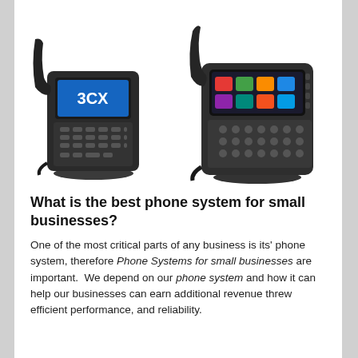[Figure (photo): Two office desk IP phones side by side. Left phone is a dark/black desk phone with a blue color screen displaying '3CX' logo and a standard numeric keypad. Right phone is a dark gray/black desk phone with a small color screen and multiple buttons.]
What is the best phone system for small businesses?
One of the most critical parts of any business is its' phone system, therefore Phone Systems for small businesses are important.  We depend on our phone system and how it can help our businesses can earn additional revenue threw efficient performance, and reliability.